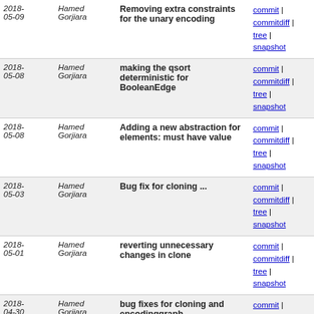| Date | Author | Message | Links |
| --- | --- | --- | --- |
| 2018-05-09 | Hamed Gorjiara | Removing extra constraints for the unary encoding | commit | commitdiff | tree | snapshot |
| 2018-05-08 | Hamed Gorjiara | making the qsort deterministic for BooleanEdge | commit | commitdiff | tree | snapshot |
| 2018-05-08 | Hamed Gorjiara | Adding a new abstraction for elements: must have value | commit | commitdiff | tree | snapshot |
| 2018-05-03 | Hamed Gorjiara | Bug fix for cloning ... | commit | commitdiff | tree | snapshot |
| 2018-05-01 | Hamed Gorjiara | reverting unnecessary changes in clone | commit | commitdiff | tree | snapshot |
| 2018-04-30 | Hamed Gorjiara | bug fixes for cloning and encodinggraph | commit | commitdiff | tree | snapshot |
| 2018-04-28 | Hamed Gorjiara | Fixing autoTuner's bug + making logs more legible | commit | commitdiff | tree | snapshot |
| 2018-04-25 | Hamed Gorjiara | Fixing memory buggit status | commit | commitdiff | tree | snapshot |
| 2018-04-18 | Hamed Gorjiara | Adding python api for serilizing + performance improvem... | commit | commitdiff | tree | snapshot |
| 2018-04-13 | Hamed Gorjiara | Adding benchmarks | commit | commitdiff | tree | snapshot |
| 2018- | Hamed | Adding logicOps and Compop in | commit | commitdiff |